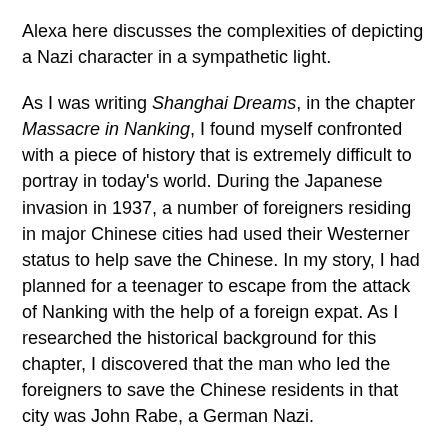Alexa here discusses the complexities of depicting a Nazi character in a sympathetic light.
As I was writing Shanghai Dreams, in the chapter Massacre in Nanking, I found myself confronted with a piece of history that is extremely difficult to portray in today's world. During the Japanese invasion in 1937, a number of foreigners residing in major Chinese cities had used their Westerner status to help save the Chinese. In my story, I had planned for a teenager to escape from the attack of Nanking with the help of a foreign expat. As I researched the historical background for this chapter, I discovered that the man who led the foreigners to save the Chinese residents in that city was John Rabe, a German Nazi.
Originally from Hamburg, John Rabe was the director of the Siemens Company's branch office in Nanking when Japan attacked the city. Although Rabe had lived in China since 1908, he was a supporter of Hitler and the Nazi party throughout Word War 2. He was also one of the only seventeen foreigners who chose to remain in Nanking upon the Japanese's arrival, to try to protect the Chinese. Relying